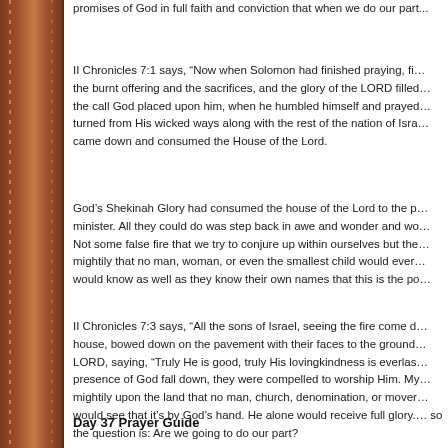promises of God in full faith and conviction that when we do our part...
II Chronicles 7:1 says, “Now when Solomon had finished praying, fire came down and consumed the burnt offering and the sacrifices, and the glory of the LORD filled the house.” Solomon fulfilled the call God placed upon him, when he humbled himself and prayed and sought God’s face and turned from His wicked ways along with the rest of the nation of Israel, the fire of God came down and consumed the House of the Lord.
God’s Shekinah Glory had consumed the house of the Lord to the point that no one could minister. All they could do was step back in awe and wonder and worship the living God. Not some false fire that we try to conjure up within ourselves but the real fire of God burning mightily that no man, woman, or even the smallest child would ever question it. Everyone would know as well as they know their own names that this is the po...
II Chronicles 7:3 says, “All the sons of Israel, seeing the fire come down and the glory of the house, bowed down on the pavement with their faces to the ground, and they worshiped and gave praise to the LORD, saying, “Truly He is good, truly His lovingkindness is everlasting.” When men feel the presence of God fall down, they were compelled to worship Him. My prayer is that God move mightily upon the land that no man, church, denomination, or movement could ever take credit. All would see that it’s by God’s hand. He alone would receive full glory. God wants to do this and so the question is: Are we going to do our part?
Day 37 Prayer Guide